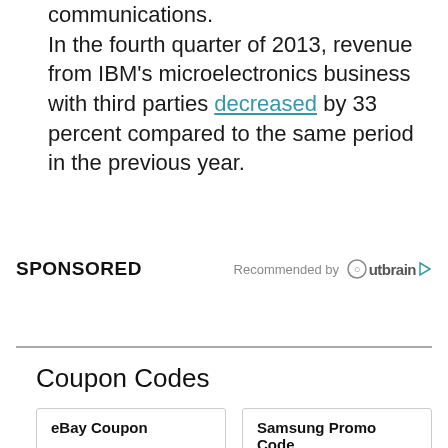communications.
In the fourth quarter of 2013, revenue from IBM's microelectronics business with third parties decreased by 33 percent compared to the same period in the previous year.
SPONSORED   Recommended by Outbrain
Coupon Codes
eBay Coupon
Samsung Promo Code